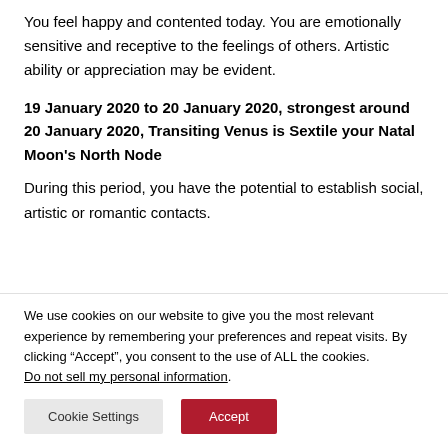You feel happy and contented today. You are emotionally sensitive and receptive to the feelings of others. Artistic ability or appreciation may be evident.
19 January 2020 to 20 January 2020, strongest around 20 January 2020, Transiting Venus is Sextile your Natal Moon's North Node
During this period, you have the potential to establish social, artistic or romantic contacts.
We use cookies on our website to give you the most relevant experience by remembering your preferences and repeat visits. By clicking “Accept”, you consent to the use of ALL the cookies.
Do not sell my personal information.
Cookie Settings | Accept